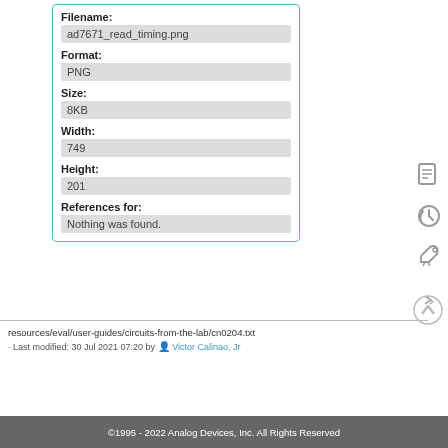| Field | Value |
| --- | --- |
| Filename: | ad7671_read_timing.png |
| Format: | PNG |
| Size: | 8KB |
| Width: | 749 |
| Height: | 201 |
| References for: | Nothing was found. |
resources/eval/user-guides/circuits-from-the-lab/cn0204.txt · Last modified: 30 Jul 2021 07:20 by Victor Calinao, Jr
©1995 - 2022 Analog Devices, Inc. All Rights Reserved